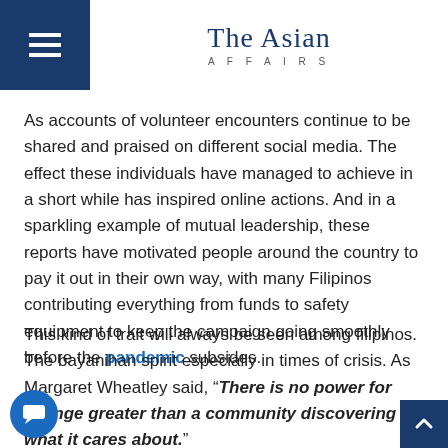The Asian Affairs
As accounts of volunteer encounters continue to be shared and praised on different social media. The effect these individuals have managed to achieve in a short while has inspired online actions. And in a sparkling example of mutual leadership, these reports have motivated people around the country to pay it out in their own way, with many Filipinos contributing everything from funds to safety equipment to keep the campaign going smoothly before the pandemic subsides.
This kind of trait will always be seen among filipinos. The bayanihan spirit especially in times of crisis. As Margaret Wheatley said, “There is no power for change greater than a community discovering what it cares about.”